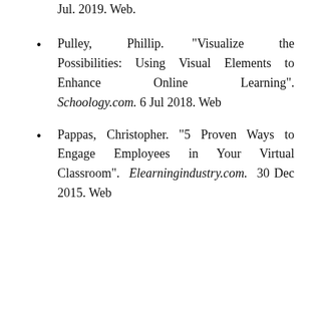Jul. 2019. Web.
Pulley, Phillip. “Visualize the Possibilities: Using Visual Elements to Enhance Online Learning”. Schoology.com. 6 Jul 2018. Web
Pappas, Christopher. “5 Proven Ways to Engage Employees in Your Virtual Classroom”. Elearningindustry.com. 30 Dec 2015. Web